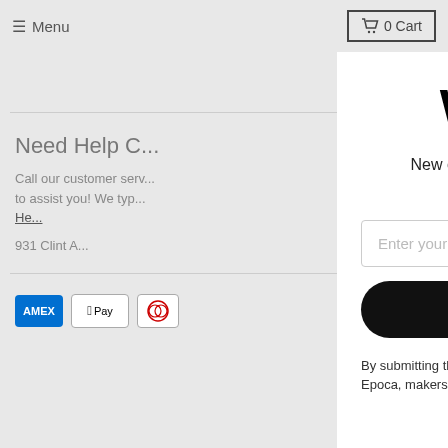Menu   0 Cart
Need Help C...
Call our customer serv... to assist you! We typ... He...
931 Clint A...
Welcome!
New customers get 10% off their first order when you join our email list!
Enter your email address
Show Me The Code!
By submitting this form you are opting in to receive emails from Epoca, makers of Primula